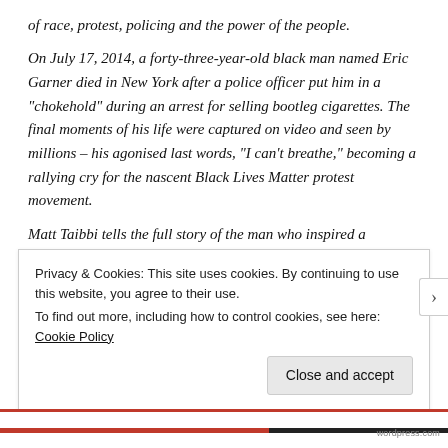of race, protest, policing and the power of the people.
On July 17, 2014, a forty-three-year-old black man named Eric Garner died in New York after a police officer put him in a "chokehold" during an arrest for selling bootleg cigarettes. The final moments of his life were captured on video and seen by millions – his agonised last words, "I can't breathe," becoming a rallying cry for the nascent Black Lives Matter protest movement.
Matt Taibbi tells the full story of the man who inspired a
Privacy & Cookies: This site uses cookies. By continuing to use this website, you agree to their use.
To find out more, including how to control cookies, see here: Cookie Policy